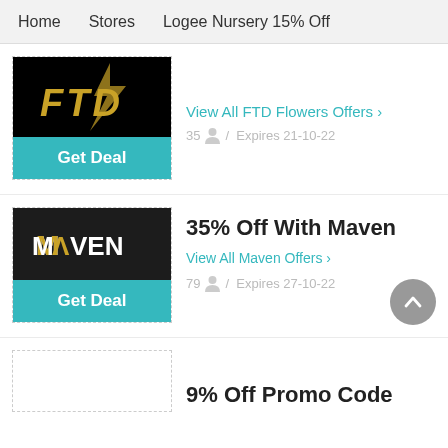Home  Stores  Logee Nursery 15% Off
[Figure (logo): FTD Flowers logo - black background with gold italic FTD text]
Get Deal
View All FTD Flowers Offers >
35 / Expires 21-10-22
[Figure (logo): MAVEN logo - dark background with white text, gold accent on A]
Get Deal
35% Off With Maven
View All Maven Offers >
79 / Expires 27-10-22
9% Off Promo Code